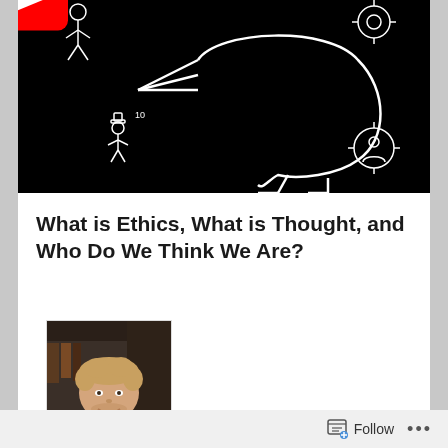[Figure (screenshot): YouTube video thumbnail with black background showing white line art drawing of a figure with a play button, with small icons in corners]
What is Ethics, What is Thought, and Who Do We Think We Are?
[Figure (photo): Headshot photo of a young man with curly blonde hair and a grey shirt, smiling, with a dark background]
Follow ...